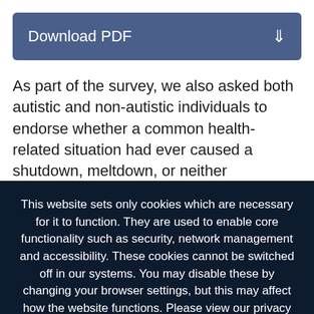[Figure (other): Download PDF button bar with blue background and download icon]
As part of the survey, we also asked both autistic and non-autistic individuals to endorse whether a common health-related situation had ever caused a shutdown, meltdown, or neither (individuals were able to select both shutdown and meltdown for each item). These terms
This website sets only cookies which are necessary for it to function. They are used to enable core functionality such as security, network management and accessibility. These cookies cannot be switched off in our systems. You may disable these by changing your browser settings, but this may affect how the website functions. Please view our privacy policy for further details on how we process your information. Dismiss